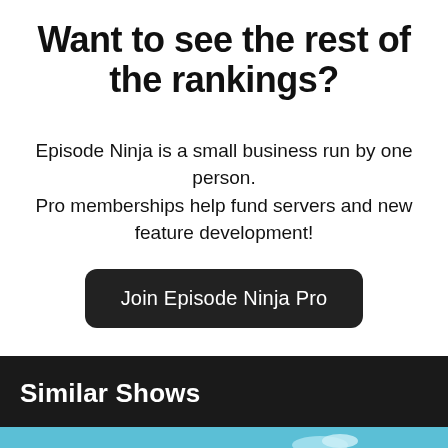Want to see the rest of the rankings?
Episode Ninja is a small business run by one person.
Pro memberships help fund servers and new feature development!
Join Episode Ninja Pro
Similar Shows
[Figure (illustration): Cartoon western scene with a cow/character wearing a red cowboy hat in front of a western town with orange desert mountains in the background.]